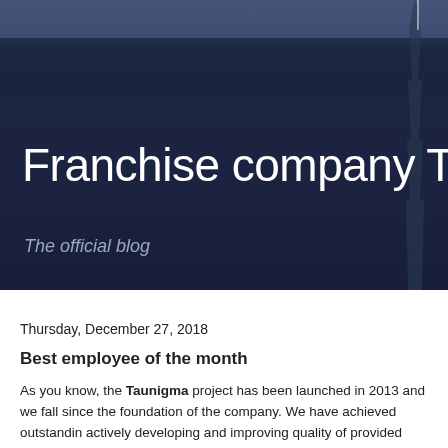[Figure (photo): Dark blue night cityscape background with a tall skyscraper (Burj Khalifa-like building) silhouette on the right side, with a lighter blue-grey bar at the very top]
Franchise company Taunig
The official blog
Thursday, December 27, 2018
Best employee of the month
As you know, the Taunigma project has been launched in 2013 and we fall since the foundation of the company. We have achieved outstanding actively developing and improving quality of provided services together business partners.
We try to devote much attention to work shown by our employees of th play a certain role required for making successful industry. There a NTP...